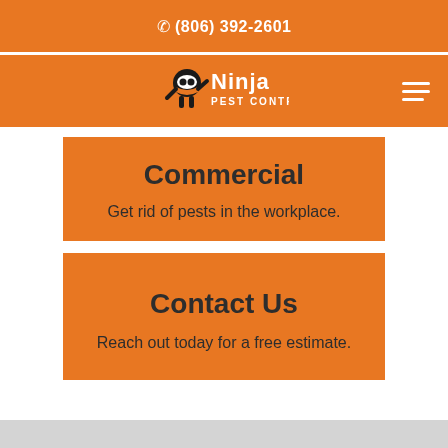(806) 392-2601
[Figure (logo): Ninja Pest Control logo with ninja character and text]
Commercial
Get rid of pests in the workplace.
Contact Us
Reach out today for a free estimate.